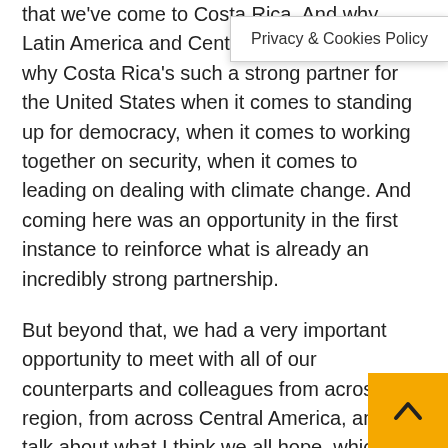that we've come to Costa Rica. And why Latin America and Central America — and why Costa Rica's such a strong partner for the United States when it comes to standing up for democracy, when it comes to working together on security, when it comes to leading on dealing with climate change. And coming here was an opportunity in the first instance to reinforce what is already an incredibly strong partnership.
But beyond that, we had a very important opportunity to meet with all of our counterparts and colleagues from across the region, from across Central America, and to talk about what I think we all hope, which is that we can build a future for people in Central America that has genuine hope and genuine opportunity. Our lives are so intertwined – the United States, the countries of Central America. We're so interconnected that I think what I take away is we have an obligation but also an opportunity to work on these things together and offer people in all our countries a greater sense of opportunity, a greater sense of hope. And that's certainly what I'll share with
Privacy & Cookies Policy